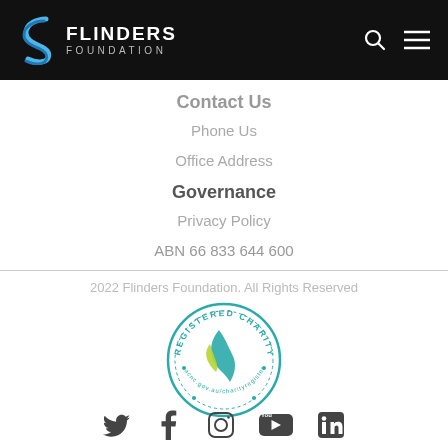[Figure (logo): Flinders Foundation logo with stylised S icon in blue and white on black header bar]
Contact Us
Phone Us
Office Address
Governance
Privacy Policy
ABN 66 833 644 600
2022 Flinders Foundation. All Rights Reserved
[Figure (logo): Registered Charity badge with acnc.gov.au/charityregister text in circular seal]
[Figure (other): Social media icons: Twitter, Facebook, Instagram, YouTube, LinkedIn]